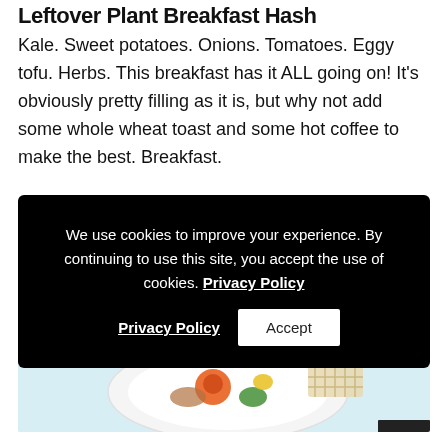Leftover Plant Breakfast Hash
Kale. Sweet potatoes. Onions. Tomatoes. Eggy tofu. Herbs. This breakfast has it ALL going on! It's obviously pretty filling as it is, but why not add some whole wheat toast and some hot coffee to make the best. Breakfast.
We use cookies to improve your experience. By continuing to use this site, you accept the use of cookies. Privacy Policy  Accept
[Figure (photo): Overhead photo of a white bowl containing a colorful breakfast hash with vegetables on a light blue background, with scattered green herb pieces around the bowl.]